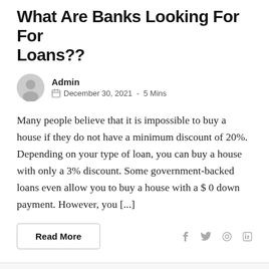What Are Banks Looking For For Loans??
Admin
December 30, 2021  -  5 Mins
Many people believe that it is impossible to buy a house if they do not have a minimum discount of 20%. Depending on your type of loan, you can buy a house with only a 3% discount. Some government-backed loans even allow you to buy a house with a $ 0 down payment. However, you [...]
Read More
HOME